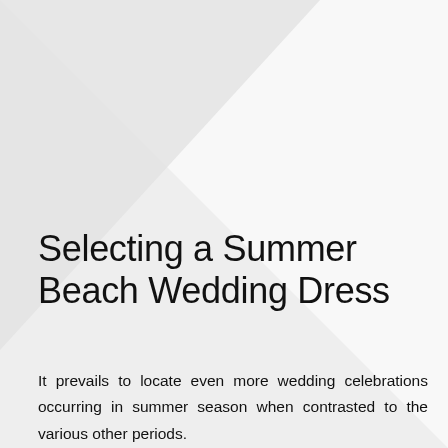[Figure (illustration): Diagonal geometric background shape — light gray triangular area in the upper-left portion of the page, white triangular area in the upper-right, creating a diagonal split across the top half of the page.]
Selecting a Summer Beach Wedding Dress
It prevails to locate even more wedding celebrations occurring in summer season when contrasted to the various other periods.